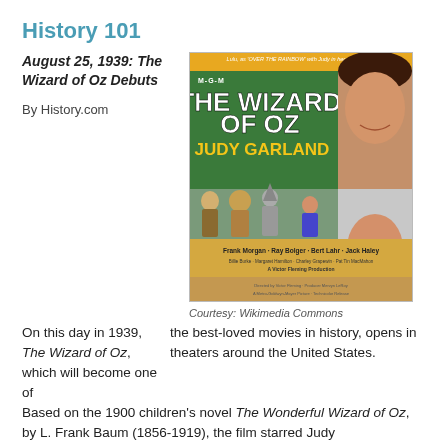History 101
August 25, 1939: The Wizard of Oz Debuts
By History.com
[Figure (photo): Movie poster for The Wizard of Oz (1939) featuring Judy Garland, the cast characters, and MGM branding in green and yellow. Caption: Courtesy: Wikimedia Commons]
Courtesy: Wikimedia Commons
On this day in 1939, The Wizard of Oz, which will become one of the best-loved movies in history, opens in theaters around the United States.
Based on the 1900 children’s novel The Wonderful Wizard of Oz, by L. Frank Baum (1856-1919), the film starred Judy